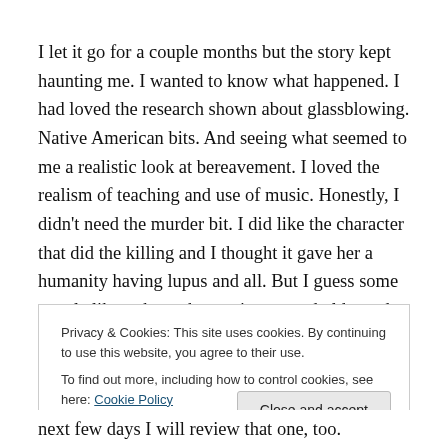I let it go for a couple months but the story kept haunting me. I wanted to know what happened. I had loved the research shown about glassblowing. Native American bits. And seeing what seemed to me a realistic look at bereavement. I loved the realism of teaching and use of music. Honestly, I didn't need the murder bit. I did like the character that did the killing and I thought it gave her a humanity having lupus and all. But I guess some people like to have the tension a good old murder gives a book.
Privacy & Cookies: This site uses cookies. By continuing to use this website, you agree to their use. To find out more, including how to control cookies, see here: Cookie Policy
next few days I will review that one, too.